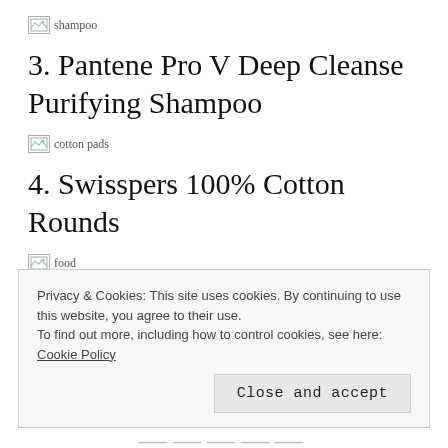[Figure (other): Broken image placeholder with alt text 'shampoo']
3. Pantene Pro V Deep Cleanse Purifying Shampoo
[Figure (other): Broken image placeholder with alt text 'cotton pads']
4. Swisspers 100% Cotton Rounds
[Figure (other): Broken image placeholder with alt text 'food']
5. Nature Valley Crunchy Granola Bars in
Privacy & Cookies: This site uses cookies. By continuing to use this website, you agree to their use.
To find out more, including how to control cookies, see here: Cookie Policy
Close and accept